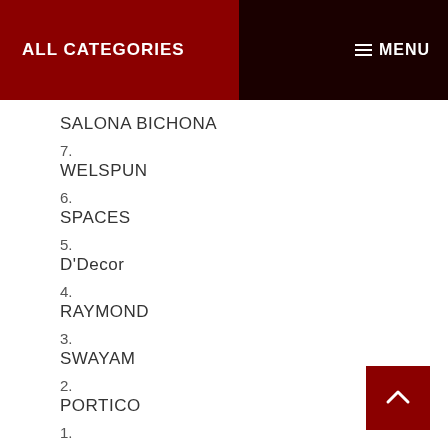ALL CATEGORIES  MENU
SALONA BICHONA
7.
WELSPUN
6.
SPACES
5.
D'Decor
4.
RAYMOND
3.
SWAYAM
2.
PORTICO
1.